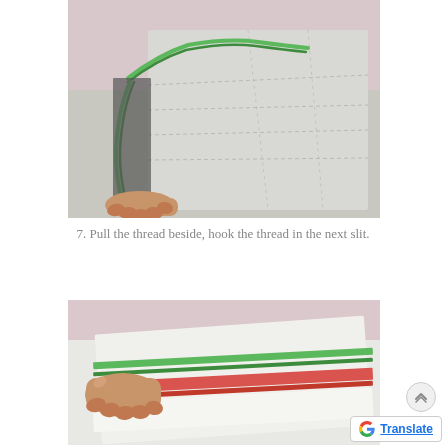[Figure (photo): A hand holding green thread being hooked through slits in a white cardboard/paper structure]
7. Pull the thread beside, hook the thread in the next slit.
[Figure (photo): A hand holding a white card/paper with green and red thread/ribbon strips laid across it on a table]